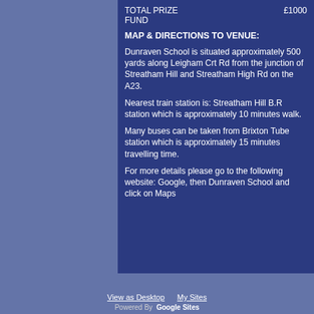TOTAL PRIZE FUND    £1000
MAP & DIRECTIONS TO VENUE:
Dunraven School is situated approximately 500 yards along Leigham Crt Rd from the junction of Streatham Hill and Streatham High Rd on the A23.
Nearest train station is: Streatham Hill B.R station which is approximately 10 minutes walk.
Many buses can be taken from Brixton Tube station which is approximately 15 minutes travelling time.
For more details please go to the following website: Google, then Dunraven School and click on Maps
Comments
View as Desktop   My Sites   Powered By Google Sites